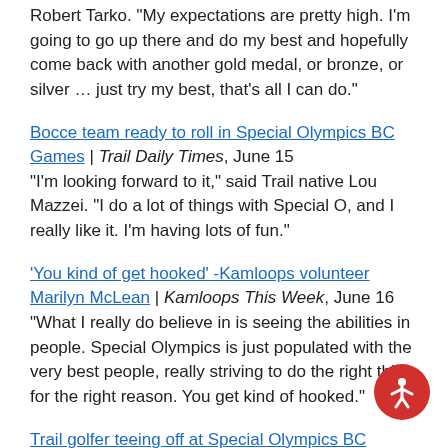Robert Tarko. "My expectations are pretty high. I'm going to go up there and do my best and hopefully come back with another gold medal, or bronze, or silver … just try my best, that's all I can do."
Bocce team ready to roll in Special Olympics BC Games | Trail Daily Times, June 15
"I'm looking forward to it," said Trail native Lou Mazzei. "I do a lot of things with Special O, and I really like it. I'm having lots of fun."
'You kind of get hooked' -Kamloops volunteer Marilyn McLean | Kamloops This Week, June 16
"What I really do believe in is seeing the abilities in people. Special Olympics is just populated with the very best people, really striving to do the right thing for the right reason. You get kind of hooked."
Trail golfer teeing off at Special Olympics BC Summer Games | Trail Daily Times, June 7
"The 2017 Special Olympics BC Summer Games are coming and Special Olympic BC – Trail athletes and coaches are primed